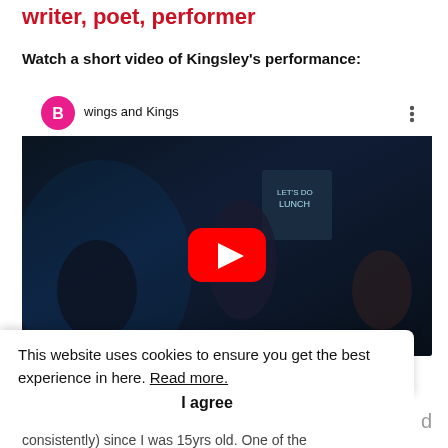writer, poet, performer
Watch a short video of Kingsley's performance:
[Figure (screenshot): YouTube video embed showing a dark performance scene with a musician playing guitar. Channel avatar is a pink circle with letter B, channel name 'wings and Kings'. A red YouTube play button is centered on the video. Three-dot menu icon visible top right.]
This website uses cookies to ensure you get the best experience in here. Read more.
I agree
consistently) since I was 15yrs old. One of the